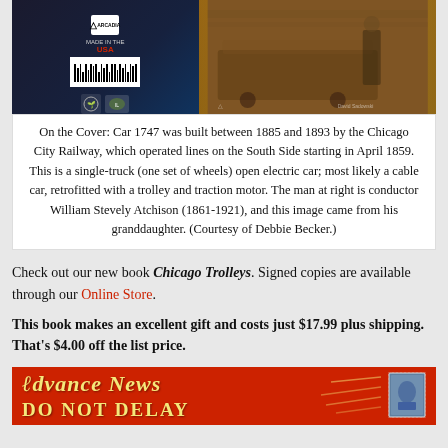[Figure (photo): Book cover image split into two parts: left side shows dark navy book back with Arcadia Publishing logo, barcode, Made in the USA seal, and Illinois state seal; right side shows sepia-toned historical photograph of a man (conductor William Stevely Atchison) standing next to a streetcar/trolley.]
On the Cover: Car 1747 was built between 1885 and 1893 by the Chicago City Railway, which operated lines on the South Side starting in April 1859. This is a single-truck (one set of wheels) open electric car; most likely a cable car, retrofitted with a trolley and traction motor. The man at right is conductor William Stevely Atchison (1861-1921), and this image came from his granddaughter. (Courtesy of Debbie Becker.)
Check out our new book Chicago Trolleys. Signed copies are available through our Online Store.
This book makes an excellent gift and costs just $17.99 plus shipping. That’s $4.00 off the list price.
[Figure (photo): Bottom portion of a vintage red postcard or mailer showing 'ADVANCE NEWS' in yellow stylized lettering and 'DO NOT DELAY' below it, with a blue postage stamp on the right.]